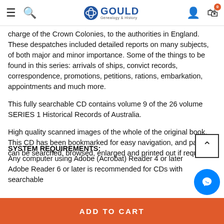Gould Genealogy & History — navigation bar with hamburger menu, search, logo, user icon, cart (0)
charge of the Crown Colonies, to the authorities in England. These despatches included detailed reports on many subjects, of both major and minor importance. Some of the things to be found in this series: arrivals of ships, convict records, correspondence, promotions, petitions, rations, embarkation, appointments and much more.
This fully searchable CD contains volume 9 of the 26 volume SERIES 1 Historical Records of Australia.
High quality scanned images of the whole of the original book. This CD has been bookmarked for easy navigation, and pages can be searched, browsed, enlarged and printed out if required.
SYSTEM REQUIREMENTS:
Any computer using Adobe (Acrobat) Reader 4 or later
Adobe Reader 6 or later is recommended for CDs with searchable
ADD TO CART